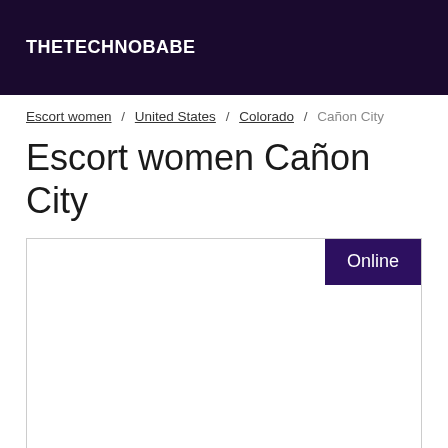THETECHNOBABE
Escort women / United States / Colorado / Cañon City
Escort women Cañon City
[Figure (other): A listing card with an Online badge in the top right corner, white background with a border]